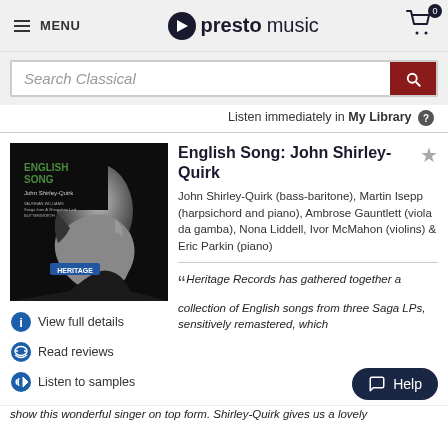MENU | prestomusic | Cart 0
Search Classical
Listen immediately in My Library
[Figure (photo): Album cover for English Song: John Shirley-Quirk on Heritage Records, black and white portrait of a man in profile]
English Song: John Shirley-Quirk
John Shirley-Quirk (bass-baritone), Martin Isepp (harpsichord and piano), Ambrose Gauntlett (viola da gamba), Nona Liddell, Ivor McMahon (violins) & Eric Parkin (piano)
View full details
Read reviews
Listen to samples
“Heritage Records has gathered together a collection of English songs from three Saga LPs, sensitively remastered, which show this wonderful singer on top form. Shirley-Quirk gives us a lovely
Help